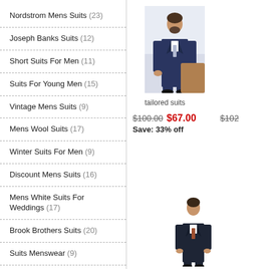Nordstrom Mens Suits (23)
Joseph Banks Suits (12)
Short Suits For Men (11)
Suits For Young Men (15)
Vintage Mens Suits (9)
Mens Wool Suits (17)
Winter Suits For Men (9)
Discount Mens Suits (16)
Mens White Suits For Weddings (17)
Brook Brothers Suits (20)
Suits Menswear (9)
Jean Suits For Men (7)
Corduroy Suits (20)
Kandg Suits (6)
All White Suits (14)
[Figure (photo): Man in tailored navy suit standing]
tailored suits
$100.00  $67.00  Save: 33% off
$102
[Figure (photo): Man in dark suit standing, bottom of page]